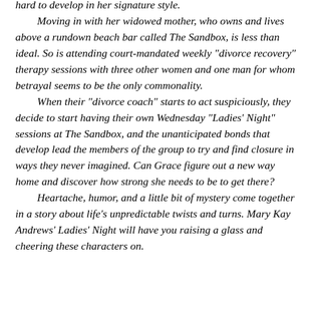hard to develop in her signature style. Moving in with her widowed mother, who owns and lives above a rundown beach bar called The Sandbox, is less than ideal. So is attending court-mandated weekly "divorce recovery" therapy sessions with three other women and one man for whom betrayal seems to be the only commonality. When their "divorce coach" starts to act suspiciously, they decide to start having their own Wednesday "Ladies' Night" sessions at The Sandbox, and the unanticipated bonds that develop lead the members of the group to try and find closure in ways they never imagined. Can Grace figure out a new way home and discover how strong she needs to be to get there? Heartache, humor, and a little bit of mystery come together in a story about life's unpredictable twists and turns. Mary Kay Andrews' Ladies' Night will have you raising a glass and cheering these characters on.